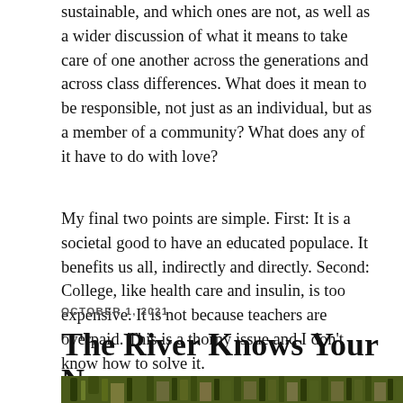sustainable, and which ones are not, as well as a wider discussion of what it means to take care of one another across the generations and across class differences. What does it mean to be responsible, not just as an individual, but as a member of a community? What does any of it have to do with love?
My final two points are simple. First: It is a societal good to have an educated populace. It benefits us all, indirectly and directly. Second: College, like health care and insulin, is too expensive. It is not because teachers are overpaid. This is a thorny issue and I don't know how to solve it.
OCTOBER 1, 2021
The River Knows Your Name
[Figure (photo): Bottom strip of a photograph showing green reeds/grass and vegetation near water]